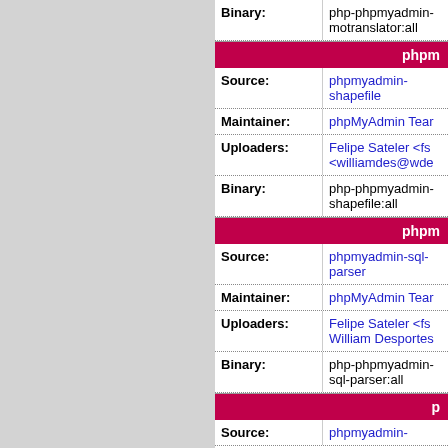| Field | Value |
| --- | --- |
| Binary: | php-phpmyadmin-motranslator:all |
| phpmyadmin-shapefile section header |  |
| Source: | phpmyadmin-shapefile |
| Maintainer: | phpMyAdmin Team |
| Uploaders: | Felipe Sateler <fsa... <williamdes@wde... |
| Binary: | php-phpmyadmin-shapefile:all |
| phpmyadmin-sql-parser section header |  |
| Source: | phpmyadmin-sql-parser |
| Maintainer: | phpMyAdmin Team |
| Uploaders: | Felipe Sateler <fs... William Desportes... |
| Binary: | php-phpmyadmin-sql-parser:all |
| p... section header |  |